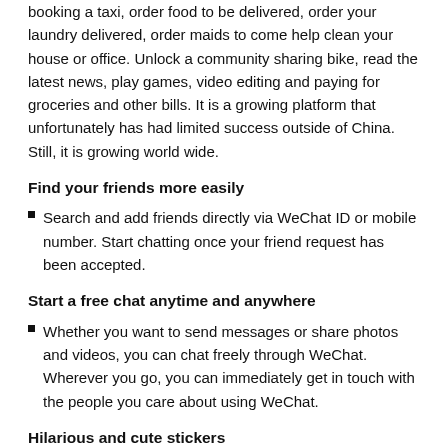booking a taxi, order food to be delivered, order your laundry delivered, order maids to come help clean your house or office. Unlock a community sharing bike, read the latest news, play games, video editing and paying for groceries and other bills. It is a growing platform that unfortunately has had limited success outside of China. Still, it is growing world wide.
Find your friends more easily
Search and add friends directly via WeChat ID or mobile number. Start chatting once your friend request has been accepted.
Start a free chat anytime and anywhere
Whether you want to send messages or share photos and videos, you can chat freely through WeChat. Wherever you go, you can immediately get in touch with the people you care about using WeChat.
Hilarious and cute stickers